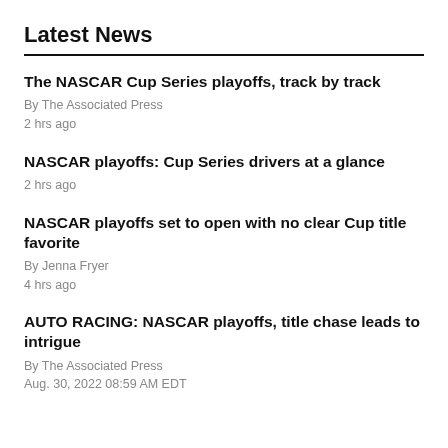Latest News
The NASCAR Cup Series playoffs, track by track
By The Associated Press
2 hrs ago
NASCAR playoffs: Cup Series drivers at a glance
2 hrs ago
NASCAR playoffs set to open with no clear Cup title favorite
By Jenna Fryer
4 hrs ago
AUTO RACING: NASCAR playoffs, title chase leads to intrigue
By The Associated Press
Aug. 30, 2022 08:59 AM EDT